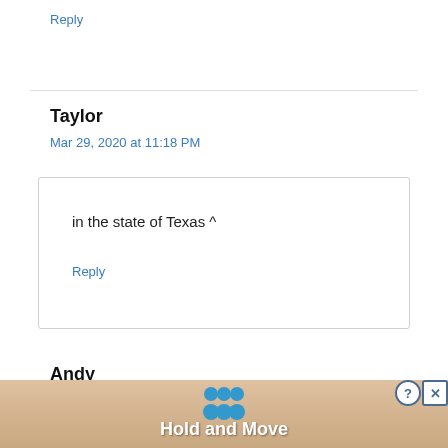Reply
Taylor
Mar 29, 2020 at 11:18 PM
in the state of Texas ^
Reply
Andy
Mar
[Figure (screenshot): Advertisement banner at the bottom of the page showing 'Hold and Move' with a wooden background and blue figures icon, with help and close buttons.]